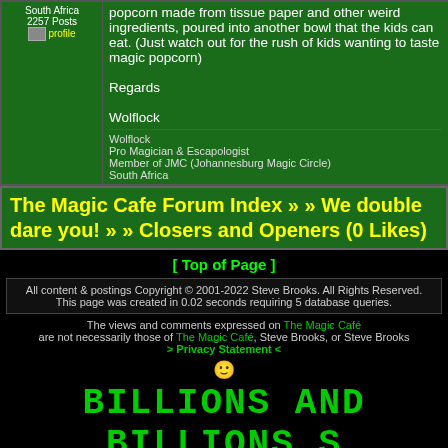| User Info | Post Content |
| --- | --- |
| South Africa
2257 Posts
[profile] | popcorn made from tissue paper and other weird ingredients, poured into another bowl that the kids can eat. (Just watch out for the rush of kids wanting to taste magic popcorn)

Regards

Wolflock
---
Wolflock
Pro Magician & Escapologist
Member of JMC (Johannesburg Magic Circle)
South Africa |
The Magic Cafe Forum Index » » We double dare you! » » Closers and Openers (0 Likes)
[ Top of Page ]
All content & postings Copyright © 2001-2022 Steve Brooks. All Rights Reserved. This page was created in 0.02 seconds requiring 5 database queries.
The views and comments expressed on The Magic Café are not necessarily those of The Magic Café, Steve Brooks, or Steve Brooks > Privacy Statement <
BILLIONS AND BILLIONS S